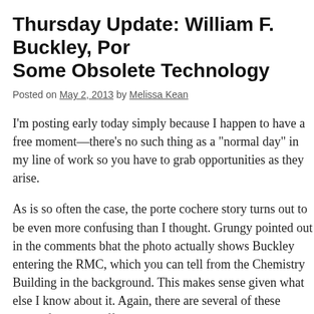Thursday Update: William F. Buckley, Por Some Obsolete Technology
Posted on May 2, 2013 by Melissa Kean
I'm posting early today simply because I happen to have a free moment—there's no such thing as a "normal day" in my line of work so you have to grab opportunities as they arise.
As is so often the case, the porte cochere story turns out to be even more confusing than I thought. Grungy pointed out in the comments that the photo actually shows Buckley entering the RMC, which you can tell from the Chemistry Building in the background. This makes sense given what else I know about it. Again, there are several of these sheets from two different years, and they show multiple locations. So let's start from the start and go through the arc of each visit. Here's my tentative conclusion: I think that Buckley first did something, which is what we see yesterday's first photo. Then I think that later he spoke elsewhere on campus, where the picture with Vandiver was taken, and images that should clear this up. First, here's a fantastic crowd s